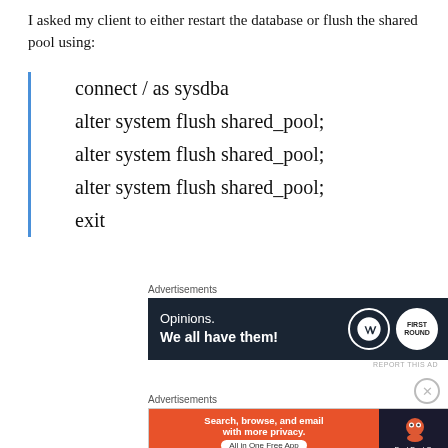I asked my client to either restart the database or flush the shared pool using:
connect / as sysdba
alter system flush shared_pool;
alter system flush shared_pool;
alter system flush shared_pool;
exit
[Figure (screenshot): Advertisement banner: 'Opinions. We all have them!' on dark background with WordPress and Jetpack icons]
REPORT THIS AD
[Figure (screenshot): Advertisement banner: DuckDuckGo - 'Search, browse, and email with more privacy. All in One Free App']
REPORT THIS AD